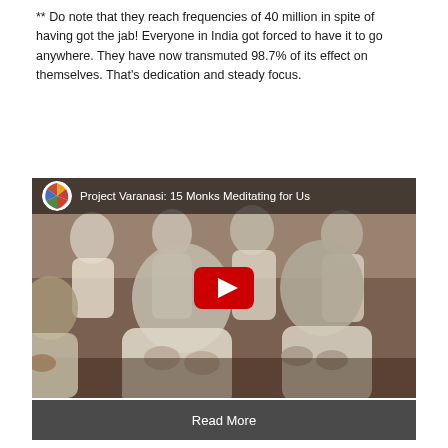** Do note that they reach frequencies of 40 million in spite of having got the jab! Everyone in India got forced to have it to go anywhere. They have now transmuted 98.7% of its effect on themselves. That's dedication and steady focus.
[Figure (screenshot): YouTube video thumbnail showing monks meditating in white robes, with video overlay title 'Project Varanasi: 15 Monks Meditating for Us' and a red play button in the center]
Read More